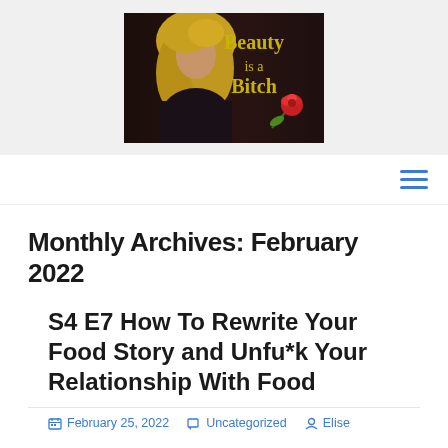[Figure (logo): Beauty is a Bitch podcast logo with a woman with blonde hair wearing black, and golden text 'Beauty is a Bitch' with a red rose graphic on dark background]
[Figure (other): Hamburger menu icon (three horizontal blue lines) in top-right navigation bar]
Monthly Archives: February 2022
S4 E7 How To Rewrite Your Food Story and Unfu*k Your Relationship With Food
February 25, 2022   Uncategorized   Elise